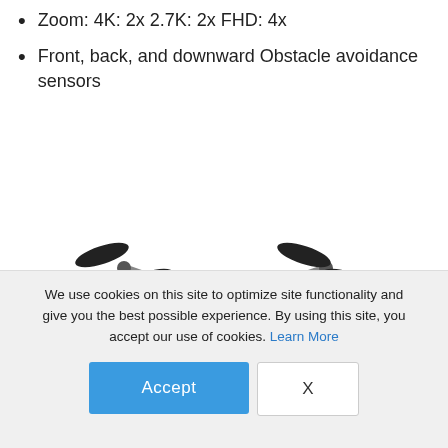Zoom: 4K: 2x 2.7K: 2x FHD: 4x
Front, back, and downward Obstacle avoidance sensors
[Figure (photo): A DJI drone (Mavic series) photographed from front-facing view showing four propellers, grey body, and gimbal camera at bottom.]
We use cookies on this site to optimize site functionality and give you the best possible experience. By using this site, you accept our use of cookies. Learn More
Accept
X